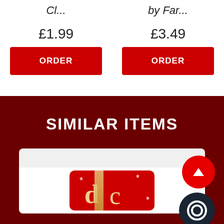Cl...
by Far...
£1.99
ORDER
£3.49
ORDER
SIMILAR ITEMS
[Figure (screenshot): Product card with a red item image, scroll-up button (red circle with up arrow), and chat button (dark circle with chat icon)]